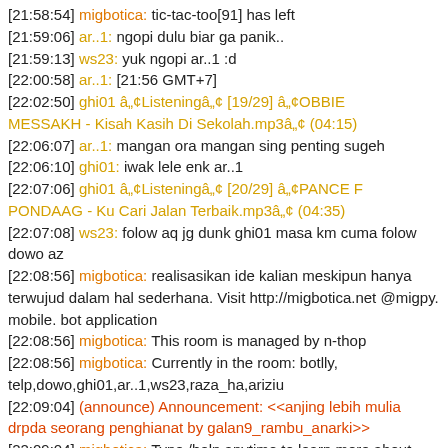[21:58:54] migbotica: tic-tac-too[91] has left
[21:59:06] ar..1: ngopi dulu biar ga panik..
[21:59:13] ws23: yuk ngopi ar..1 :d
[22:00:58] ar..1: [21:56 GMT+7]
[22:02:50] ghi01 â„¢Listeningâ„¢ [19/29] â„¢OBBIE MESSAKH - Kisah Kasih Di Sekolah.mp3â„¢ (04:15)
[22:06:07] ar..1: mangan ora mangan sing penting sugeh
[22:06:10] ghi01: iwak lele enk ar..1
[22:07:06] ghi01 â„¢Listeningâ„¢ [20/29] â„¢PANCE F PONDAAG - Ku Cari Jalan Terbaik.mp3â„¢ (04:35)
[22:07:08] ws23: folow aq jg dunk ghi01 masa km cuma folow dowo az
[22:08:56] migbotica: realisasikan ide kalian meskipun hanya terwujud dalam hal sederhana. Visit http://migbotica.net @migpy. mobile. bot application
[22:08:56] migbotica: This room is managed by n-thop
[22:08:56] migbotica: Currently in the room: botlly,telp,dowo,ghi01,ar..1,ws23,raza_ha,ariziu
[22:09:04] (announce) Announcement: <<anjing lebih mulia drpda seorang penghianat by galan9_rambu_anarki>>
[22:09:04] migbotica: Type /help anytime to learn more about Making Friends, Gifting/Emoticons, Miniblog, migLevels,